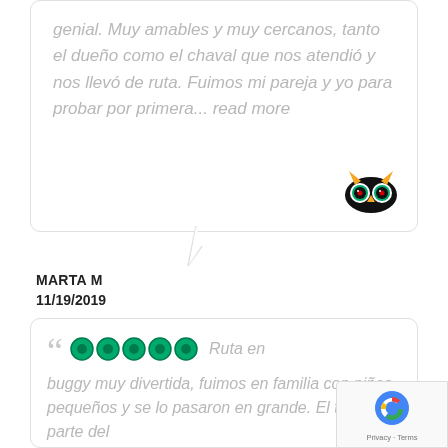genial. Muy amables y muy cercanos, tanto el dueño como el chaval que nos atendió y nos llevó de ruta. Fuimos mi pareja y yo para probar por primera... read more
[Figure (logo): TripAdvisor owl logo in black, yellow, green and red]
MARTA M
11/19/2019
Ruta en buggy muy divertida, fuimos en familia con niños pequeños y se lo pasaron en grande. El trato por parte del
[Figure (logo): reCAPTCHA logo with Privacy and Terms text]